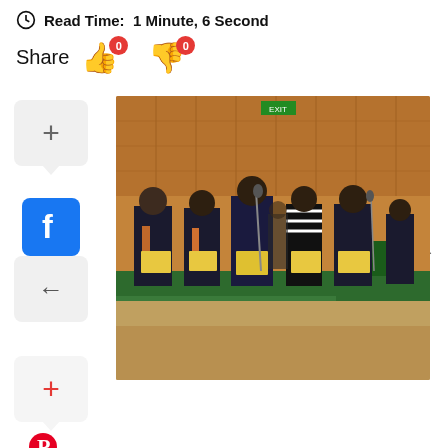Read Time: 1 Minute, 6 Second
Share
[Figure (screenshot): A webpage screenshot showing social sharing buttons (thumbs up with 0, thumbs down with 0, plus button, Facebook button, left/right navigation arrows, Pinterest button) alongside a photo of several people in formal attire standing in a row reading from yellow books/documents in what appears to be an official government ceremony room.]